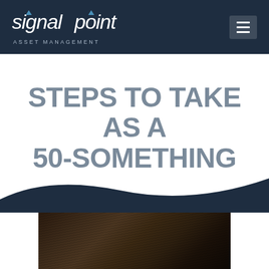[Figure (logo): SignalPoint Asset Management logo — white text on dark navy header bar with hamburger menu icon]
STEPS TO TAKE AS A 50-SOMETHING
[Figure (photo): Dark wood grain texture photograph, partially visible at bottom of page]